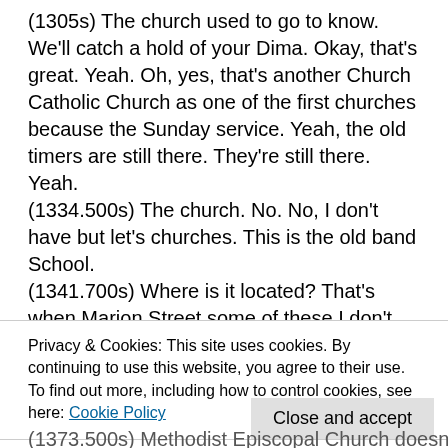(1305s) The church used to go to know. We'll catch a hold of your Dima. Okay, that's great. Yeah. Oh, yes, that's another Church Catholic Church as one of the first churches because the Sunday service. Yeah, the old timers are still there. They're still there. Yeah.
(1334.500s) The church. No. No, I don't have but let's churches. This is the old band School.
(1341.700s) Where is it located? That's when Marion Street some of these I don't remember.
(1348.900s) see
(1350.800s) because you're not sure.
(1356s) Is it grateful?
Privacy & Cookies: This site uses cookies. By continuing to use this website, you agree to their use.
To find out more, including how to control cookies, see here: Cookie Policy
Close and accept
(1373.500s) Methodist Episcopal Church doesn't